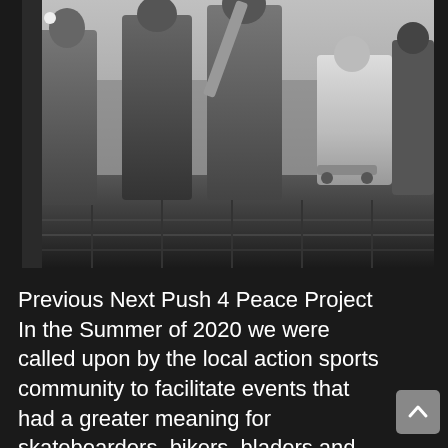[Figure (photo): Black and white photo of a group of people at a skate event. Several figures are standing, one appears to be holding a skateboard. The bottom portion shows what appears to be a skate ramp.]
Previous Next Push 4 Peace Project In the Summer of 2020 we were called upon by the local action sports community to facilitate events that had a greater meaning for skateboarders, bikers, bladers and scooters alike. Titled "Push 4 Peace"